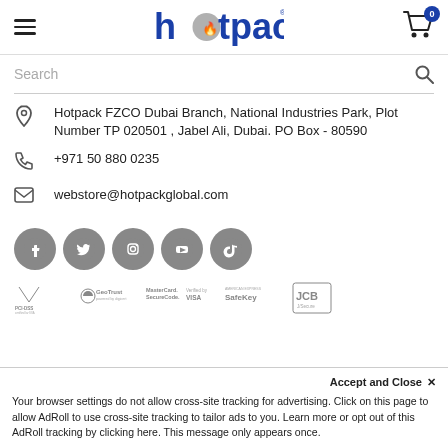hotpack (logo) — hamburger menu and cart icon with badge 0
Search
Hotpack FZCO Dubai Branch, National Industries Park, Plot Number TP 020501 , Jabel Ali, Dubai. PO Box - 80590
+971 50 880 0235
webstore@hotpackglobal.com
[Figure (illustration): Social media icons: Facebook, Twitter, Instagram, YouTube, TikTok — all gray circular buttons]
[Figure (illustration): Security badges: PCI-DSS certified by SSA, GeoTrust powered by digicert, MasterCard SecureCode, Verified by VISA, American Express SafeKey, JCB J/Secure]
Accept and Close ×
Your browser settings do not allow cross-site tracking for advertising. Click on this page to allow AdRoll to use cross-site tracking to tailor ads to you. Learn more or opt out of this AdRoll tracking by clicking here. This message only appears once.